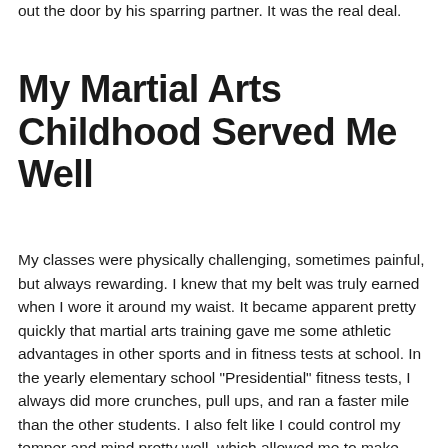out the door by his sparring partner. It was the real deal.
My Martial Arts Childhood Served Me Well
My classes were physically challenging, sometimes painful, but always rewarding. I knew that my belt was truly earned when I wore it around my waist. It became apparent pretty quickly that martial arts training gave me some athletic advantages in other sports and in fitness tests at school. In the yearly elementary school “Presidential” fitness tests, I always did more crunches, pull ups, and ran a faster mile than the other students. I also felt like I could control my temper and mind pretty well, which allowed me to make better grades and get in trouble less. As the shortest and one of the smallest-framed kids, martial arts gave me more confidence, and made me less of a would-be